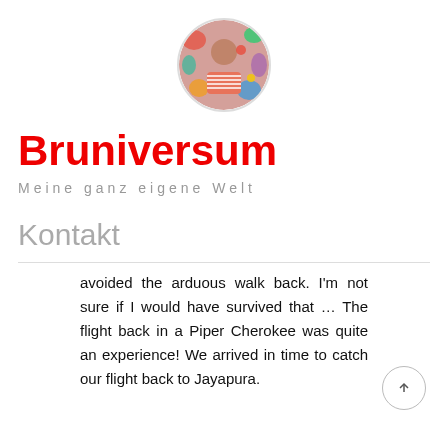[Figure (photo): Circular profile photo of a person with colorful background]
Bruniversum
Meine ganz eigene Welt
Kontakt
avoided the arduous walk back. I'm not sure if I would have survived that … The flight back in a Piper Cherokee was quite an experience! We arrived in time to catch our flight back to Jayapura.